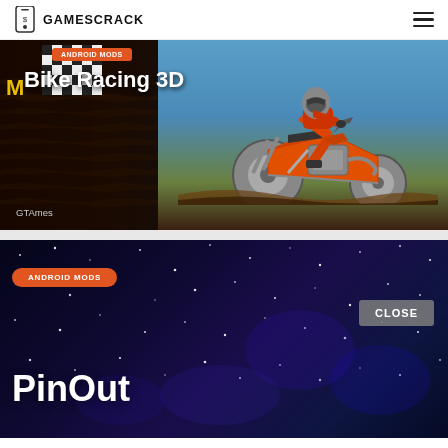GAMESCRACK
[Figure (screenshot): Bike Racing 3D game banner with a motocross rider on an orange dirt bike against a dark and blue background. A red tag at top left. Title 'Bike Racing 3D' in white. 'GTAmes' text at bottom left.]
[Figure (screenshot): PinOut game banner with starry night sky background in deep blue/purple. Orange pill-shaped 'ANDROID MODS' tag. 'PinOut' title in large white bold text. 'CLOSE' button in gray at right.]